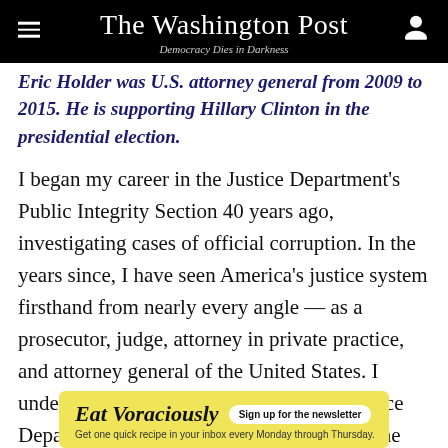The Washington Post — Democracy Dies in Darkness
Eric Holder was U.S. attorney general from 2009 to 2015. He is supporting Hillary Clinton in the presidential election.
I began my career in the Justice Department's Public Integrity Section 40 years ago, investigating cases of official corruption. In the years since, I have seen America's justice system firsthand from nearly every angle — as a prosecutor, judge, attorney in private practice, and attorney general of the United States. I understand the gravity of the work our Justice Department performs every day to defend the security of our nation, protect the American people, uphold the rule of law and be fair.
[Figure (infographic): Advertisement banner for 'Eat Voraciously' newsletter. Yellow background with bold italic text 'Eat Voraciously', a white pill-shaped button 'Sign up for the newsletter', and subtitle 'Get one quick recipe in your inbox every Monday through Thursday.']